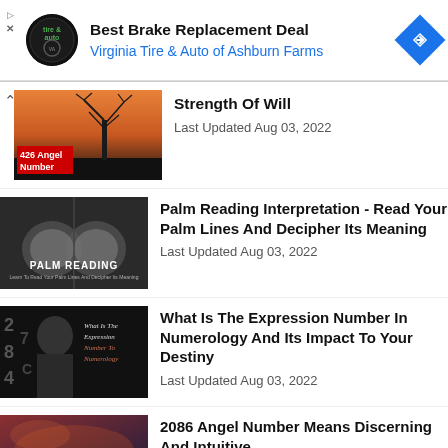[Figure (screenshot): Ad banner for Best Brake Replacement Deal - Virginia Tire & Auto of Ashburn Farms with a circular logo and blue diamond navigation icon]
Strength Of Will
Last Updated Aug 03, 2022
[Figure (photo): Thumbnail for 426 Angel Number - tree silhouette against orange sunset sky with red label '426 Angel Number']
Palm Reading Interpretation - Read Your Palm Lines And Decipher Its Meaning
Last Updated Aug 03, 2022
[Figure (photo): Thumbnail for Palm Reading - two cupped hands in black and white with text 'PALM READING']
What Is The Expression Number In Numerology And Its Impact To Your Destiny
Last Updated Aug 03, 2022
[Figure (photo): Thumbnail showing a woman's face with numbers overlay and cursive script 'What Is The Expression Number To Numerology']
2086 Angel Number Means Discerning And Intuitive
[Figure (photo): Thumbnail for 2086 Angel Number with fiery/nebula background and white italic text '2086 Angel Number']